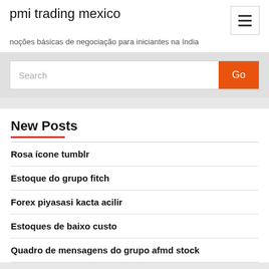pmi trading mexico
noções básicas de negociação para iniciantes na índia
Search
New Posts
Rosa ícone tumblr
Estoque do grupo fitch
Forex piyasasi kacta acilir
Estoques de baixo custo
Quadro de mensagens do grupo afmd stock